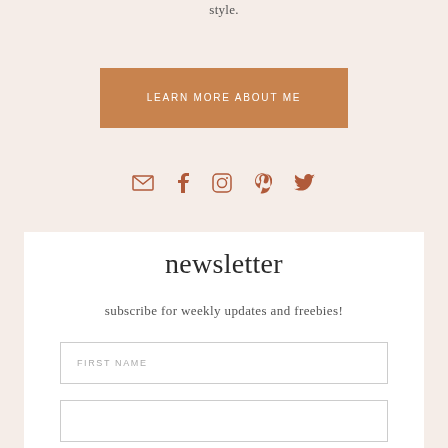style.
LEARN MORE ABOUT ME
[Figure (infographic): Social media icons: email, facebook, instagram, pinterest, twitter in terracotta/brown color]
newsletter
subscribe for weekly updates and freebies!
FIRST NAME